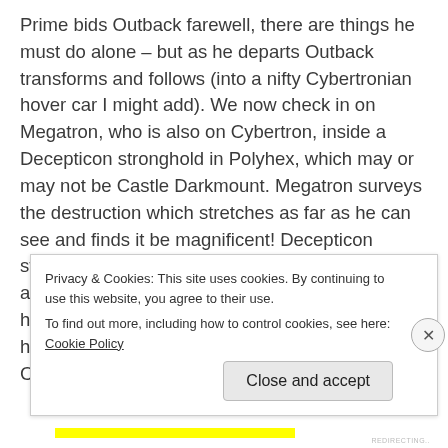Prime bids Outback farewell, there are things he must do alone – but as he departs Outback transforms and follows (into a nifty Cybertronian hover car I might add). We now check in on Megatron, who is also on Cybertron, inside a Decepticon stronghold in Polyhex, which may or may not be Castle Darkmount. Megatron surveys the destruction which stretches as far as he can see and finds it be magnificent! Decepticon standards have not slackened in his absence, but an italicised voice off panel sounds less than happy with his presence. It notes that Megatron has brought with him trouble – the last thing the Cybertron Decepticons need is for the
Privacy & Cookies: This site uses cookies. By continuing to use this website, you agree to their use.
To find out more, including how to control cookies, see here: Cookie Policy